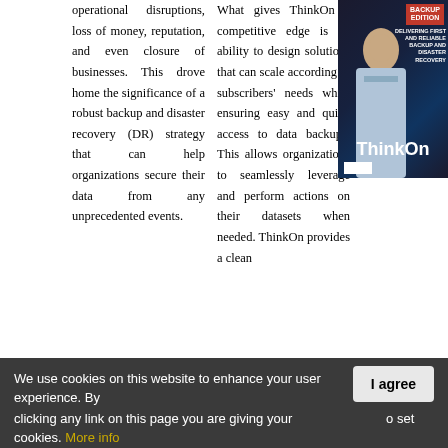operational disruptions, loss of money, reputation, and even closure of businesses. This drove home the significance of a robust backup and disaster recovery (DR) strategy that can help organizations secure their data from any unprecedented events.
What gives ThinkOn a competitive edge is its ability to design solutions that can scale according to subscribers' needs while ensuring easy and quick access to data backups. This allows organizations to seamlessly leverage and perform actions on their datasets when needed. ThinkOn provides a clean
[Figure (photo): Magazine cover featuring a man in a light-colored suit, with 'BACKUP' text at top right and 'ThinkOn' logo prominently displayed]
We use cookies on this website to enhance your user experience. By clicking any link on this page you are giving your consent for us to set cookies. More info